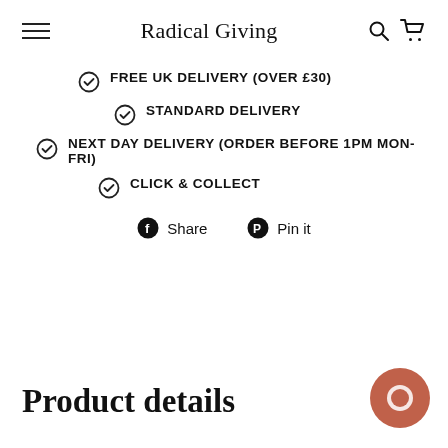Radical Giving
FREE UK DELIVERY (OVER £30)
STANDARD DELIVERY
NEXT DAY DELIVERY (ORDER BEFORE 1PM MON-FRI)
CLICK & COLLECT
Share   Pin it
Product details